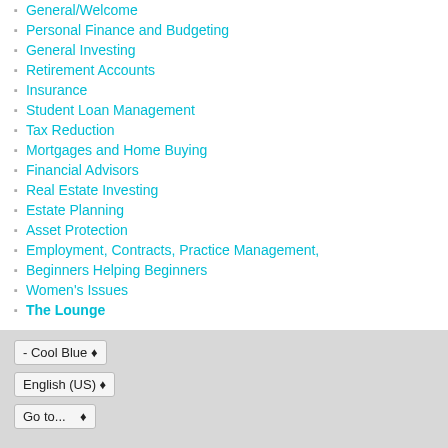General/Welcome
Personal Finance and Budgeting
General Investing
Retirement Accounts
Insurance
Student Loan Management
Tax Reduction
Mortgages and Home Buying
Financial Advisors
Real Estate Investing
Estate Planning
Asset Protection
Employment, Contracts, Practice Management,
Beginners Helping Beginners
Women's Issues
The Lounge
- Cool Blue ▾
English (US) ▾
Go to... ▾
Copyright 2020 - The White Coat Investor, LLC
Powered by vBulletin® Version 5.6.9
Copyright © 2022 MH Sub I, LLC dba vBulletin. All rights reserved.
All times are GMT-7. This page was generated at 08:24 AM.